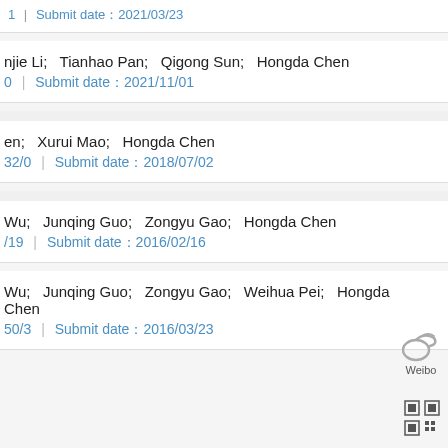1 | Submit date：2021/03/23
njie Li;  Tianhao Pan;  Qigong Sun;  Hongda Chen
0 | Submit date：2021/11/01
en;  Xurui Mao;  Hongda Chen
32/0 | Submit date：2018/07/02
Wu;  Junqing Guo;  Zongyu Gao;  Hongda Chen
/19 | Submit date：2016/02/16
Wu;  Junqing Guo;  Zongyu Gao;  Weihua Pei;  Hongda Chen
50/3 | Submit date：2016/03/23